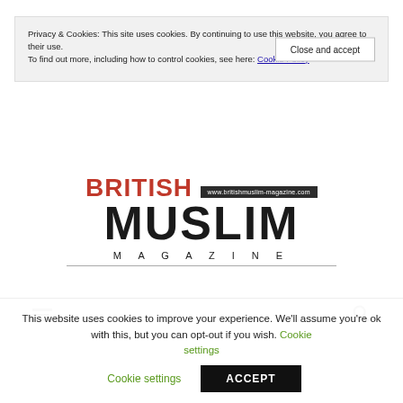Privacy & Cookies: This site uses cookies. By continuing to use this website, you agree to their use. To find out more, including how to control cookies, see here: Cookie Policy
History & Heritage    Food & Drink
Travel
[Figure (logo): British Muslim Magazine logo with red BRITISH text, dark URL box (www.britishmuslim-magazine.com), large dark MUSLIM text, and MAGAZINE in spaced letters below a horizontal rule]
This website uses cookies to improve your experience. We'll assume you're ok with this, but you can opt-out if you wish. Cookie settings  ACCEPT